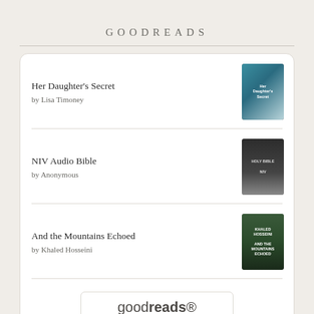GOODREADS
Her Daughter's Secret by Lisa Timoney
NIV Audio Bible by Anonymous
And the Mountains Echoed by Khaled Hosseini
[Figure (logo): goodreads logo button]